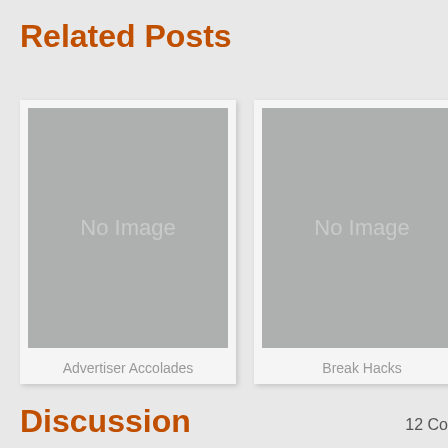Related Posts
[Figure (illustration): Placeholder image card with 'No Image' text in gray box, captioned 'Advertiser Accolades']
Advertiser Accolades
[Figure (illustration): Placeholder image card with 'No Image' text in gray box, captioned 'Break Hacks']
Break Hacks
Discussion
12 Co